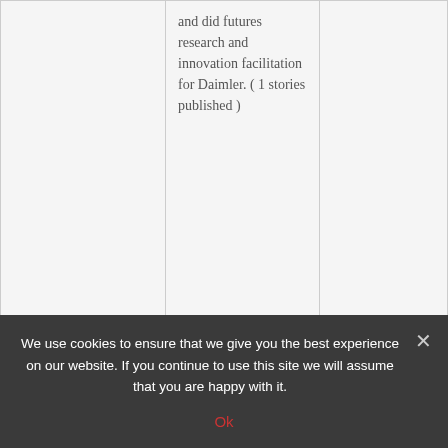| (image) | Author / Bio | Article |
| --- | --- | --- |
|  | and did futures research and innovation facilitation for Daimler. ( 1 stories published ) |  |
|  | Caroline Szymanski

Caroline is a social neuroscientist spending most | Reinventing Solar Energy Supply for Rural Africa |
We use cookies to ensure that we give you the best experience on our website. If you continue to use this site we will assume that you are happy with it.
Ok